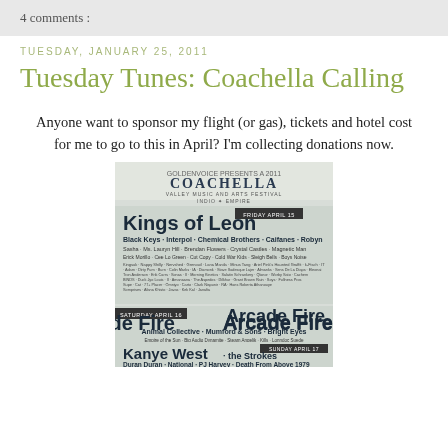4 comments :
TUESDAY, JANUARY 25, 2011
Tuesday Tunes: Coachella Calling
Anyone want to sponsor my flight (or gas), tickets and hotel cost for me to go to this in April? I'm collecting donations now.
[Figure (photo): Coachella 2011 festival lineup poster showing Kings of Leon (Friday April 15), Arcade Fire (Saturday April 16), and Kanye West + the Strokes (Sunday April 17) as headliners along with many other artists.]